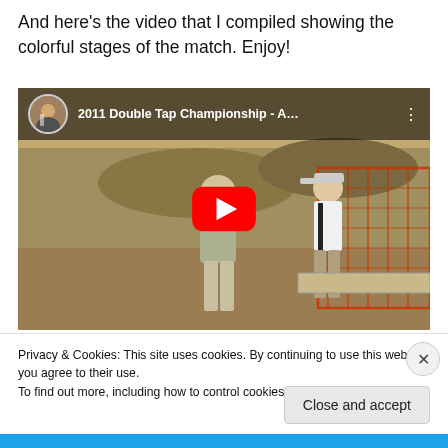And here's the video that I compiled showing the colorful stages of the match. Enjoy!
[Figure (screenshot): Embedded YouTube video thumbnail showing '2011 Double Tap Championship - A…' with two people standing at a shooting range with orange fencing, YouTube play button overlay, and avatar thumbnail in top-left corner.]
Privacy & Cookies: This site uses cookies. By continuing to use this website, you agree to their use.
To find out more, including how to control cookies, see here: Cookie Policy
Close and accept